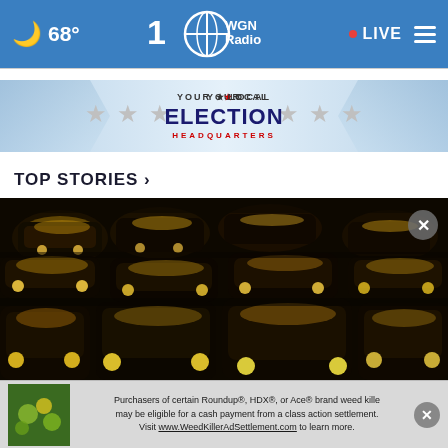68° WGN Radio LIVE
[Figure (other): Election Headquarters banner with stars and shield decorations. Text reads: YOUR ★ LOCAL ELECTION HEADQUARTERS]
TOP STORIES ›
[Figure (photo): Aerial view of heavy traffic congestion with cars packed bumper to bumper, illuminated by golden sunlight]
[Figure (other): Advertisement banner: Purchasers of certain Roundup®, HDX®, or Ace® brand weed killer may be eligible for a cash payment from a class action settlement. Visit www.WeedKillerAdSettlement.com to learn more.]